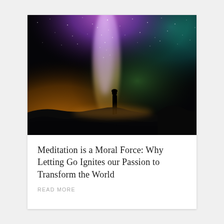[Figure (photo): Night sky photo showing the Milky Way with colorful aurora-like light — purple and pink at top center, teal at top right, orange-amber at bottom left — with a silhouette of a lone person standing on rocky ground gazing upward.]
Meditation is a Moral Force: Why Letting Go Ignites our Passion to Transform the World
READ MORE